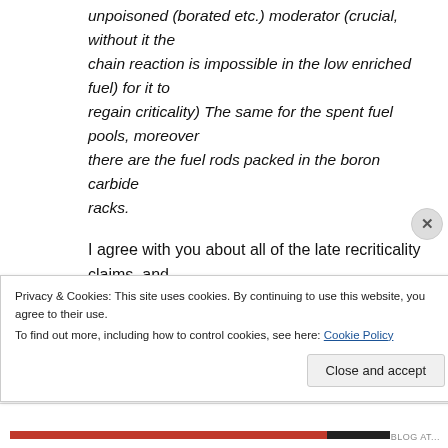unpoisoned (borated etc.) moderator (crucial, without it the chain reaction is impossible in the low enriched fuel) for it to regain criticality) The same for the spent fuel pools, moreover there are the fuel rods packed in the boron carbide racks.
I agree with you about all of the late recriticality claims, and
Privacy & Cookies: This site uses cookies. By continuing to use this website, you agree to their use.
To find out more, including how to control cookies, see here: Cookie Policy